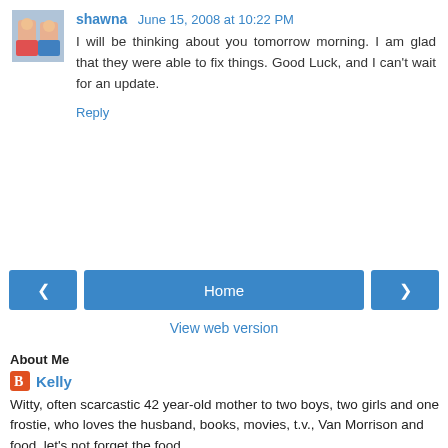[Figure (photo): Small avatar photo of two children in swimwear]
shawna June 15, 2008 at 10:22 PM
I will be thinking about you tomorrow morning. I am glad that they were able to fix things. Good Luck, and I can't wait for an update.
Reply
[Figure (infographic): Navigation buttons: left arrow, Home, right arrow, and View web version link]
About Me
Kelly
Witty, often scarcastic 42 year-old mother to two boys, two girls and one frostie, who loves the husband, books, movies, t.v., Van Morrison and food, let's not forget the food.